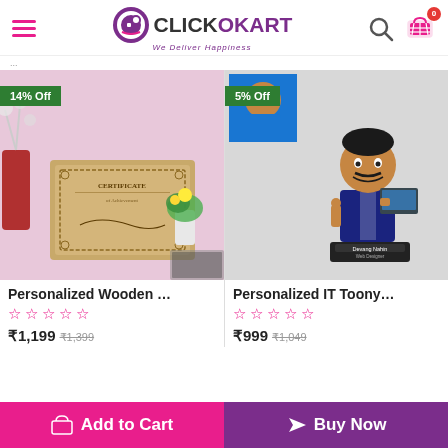ClickoKart - We Deliver Happiness
[Figure (photo): Product image of Personalized Wooden Certificate with 14% Off badge]
[Figure (photo): Product image of Personalized IT Toony caricature figurine with 5% Off badge and customer photo inset]
Personalized Wooden …
Personalized IT Toony…
☆ ☆ ☆ ☆ ☆
☆ ☆ ☆ ☆ ☆
₹1,199  ₹1,399
₹999  ₹1,049
Add to Cart   Buy Now